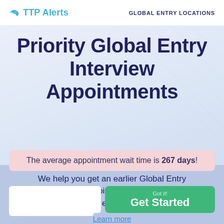TTP Alerts   GLOBAL ENTRY LOCATIONS
Priority Global Entry Interview Appointments
The average appointment wait time is 267 days!
This website uses cookies to ensure you get
We help you get an earlier Global Entry appointment at your nearby enrollment center.
Learn more
Get Started